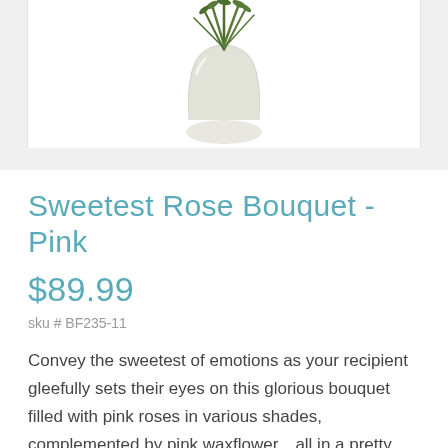[Figure (photo): Product photo of a glass garden vase with green stems/foliage visible from above, on white background]
Sweetest Rose Bouquet - Pink
$89.99
sku # BF235-11
Convey the sweetest of emotions as your recipient gleefully sets their eyes on this glorious bouquet filled with pink roses in various shades, complemented by pink waxflower…all in a pretty garden vase. Small Measures 16"H by 11"L. Medium